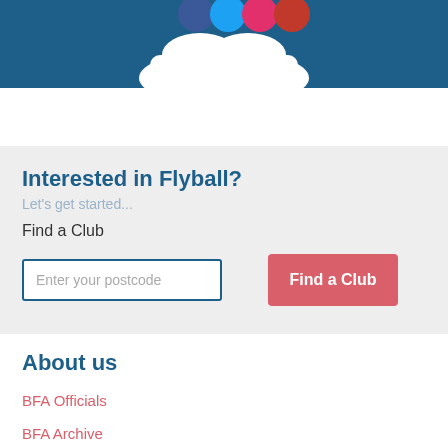[Figure (illustration): Dark blue header banner with a white car/vehicle shape with colored circles (social media icons) visible at the bottom center]
Interested in Flyball?
Let's get started...
Find a Club
Enter your postcode
Find a Club
About us
BFA Officials
BFA Archive